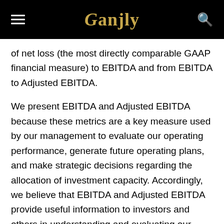Ganjly
of net loss (the most directly comparable GAAP financial measure) to EBITDA and from EBITDA to Adjusted EBITDA.
We present EBITDA and Adjusted EBITDA because these metrics are a key measure used by our management to evaluate our operating performance, generate future operating plans, and make strategic decisions regarding the allocation of investment capacity. Accordingly, we believe that EBITDA and Adjusted EBITDA provide useful information to investors and others in understanding and evaluating our operating results